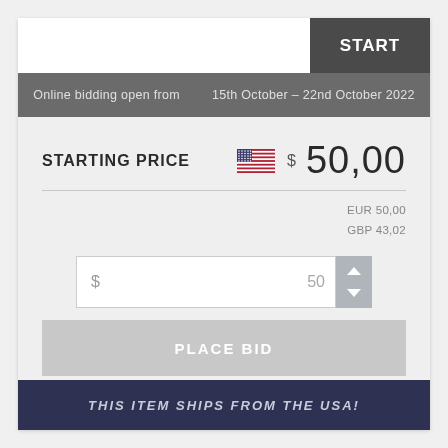START
Online bidding open from    15th October – 22nd October 2022
STARTING PRICE   $ 50,00
EUR 50,00
GBP 43,02
$ 50
PLACE BID
BUYER'S PREMIUM: 22,5 %
THIS ITEM SHIPS FROM THE USA!